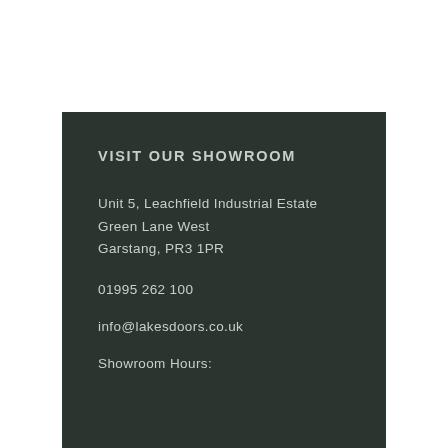VISIT OUR SHOWROOM
Unit 5, Leachfield Industrial Estate
Green Lane West
Garstang, PR3 1PR
01995 262 100
info@lakesdoors.co.uk
Showroom Hours: